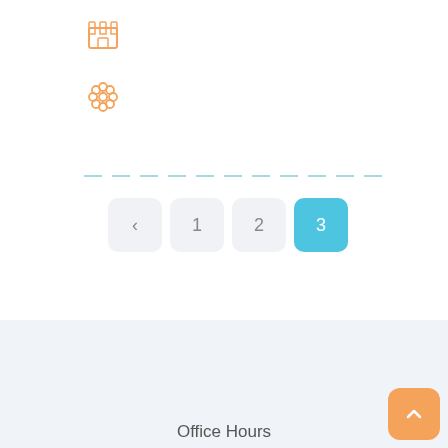[Figure (illustration): Orange building/temple icon]
[Figure (illustration): Orange flower/grid pattern icon]
[Figure (other): Dashed horizontal separator line in light teal/blue]
[Figure (other): Pagination control with buttons: left arrow (<), 1, 2, 3 (active/highlighted in blue)]
Office Hours